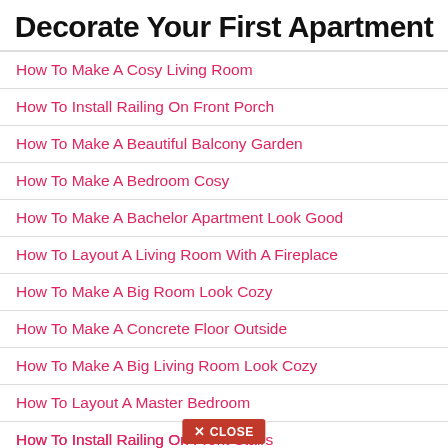Decorate Your First Apartment
How To Make A Cosy Living Room
How To Install Railing On Front Porch
How To Make A Beautiful Balcony Garden
How To Make A Bedroom Cosy
How To Make A Bachelor Apartment Look Good
How To Layout A Living Room With A Fireplace
How To Make A Big Room Look Cozy
How To Make A Concrete Floor Outside
How To Make A Big Living Room Look Cozy
How To Layout A Master Bedroom
How To Install Railing On Front Stairs